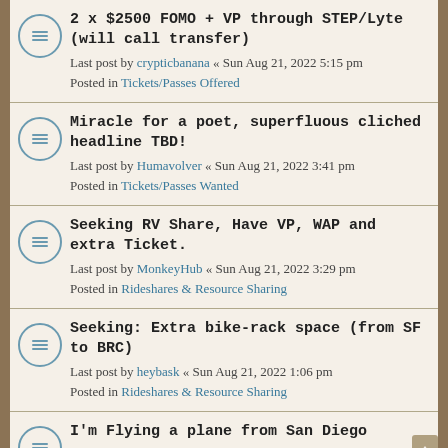2 x $2500 FOMO + VP through STEP/Lyte (will call transfer)
Last post by crypticbanana « Sun Aug 21, 2022 5:15 pm
Posted in Tickets/Passes Offered
Miracle for a poet, superfluous cliched headline TBD!
Last post by Humavolver « Sun Aug 21, 2022 3:41 pm
Posted in Tickets/Passes Wanted
Seeking RV Share, Have VP, WAP and extra Ticket.
Last post by MonkeyHub « Sun Aug 21, 2022 3:29 pm
Posted in Rideshares & Resource Sharing
Seeking: Extra bike-rack space (from SF to BRC)
Last post by heybask « Sun Aug 21, 2022 1:06 pm
Posted in Rideshares & Resource Sharing
I'm Flying a plane from San Diego
Last post by Bigpilot « Sun Aug 21, 2022 11:48 am
Posted in Rideshares & Resource Sharing
2022 build aerial images with login...